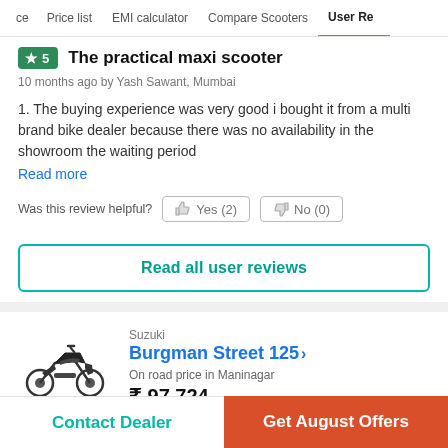ce  Price list  EMI calculator  Compare Scooters  User Re
★5  The practical maxi scooter
10 months ago by Yash Sawant, Mumbai
1. The buying experience was very good i bought it from a multi brand bike dealer because there was no availability in the showroom the waiting period
Read more
Was this review helpful?  Yes (2)   No (0)
Read all user reviews
Suzuki
Burgman Street 125 >
On road price in Maninagar
₹ 97,724
Contact Dealer
Get August Offers